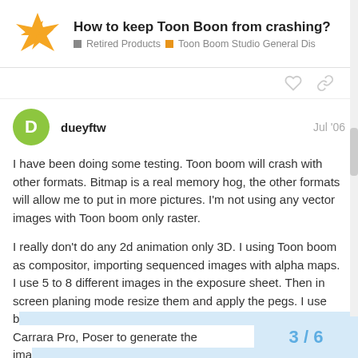How to keep Toon Boon from crashing? | Retired Products > Toon Boom Studio General Discussion
dueyftw  Jul '06
I have been doing some testing. Toon boom will crash with other formats. Bitmap is a real memory hog, the other formats will allow me to put in more pictures. I'm not using any vector images with Toon boom only raster.
I really don't do any 2d animation only 3D. I using Toon boom as compositor, importing sequenced images with alpha maps. I use 5 to 8 different images in the exposure sheet. Then in screen planing mode resize them and apply the pegs. I use b... Carrara Pro, Poser to generate the ima...